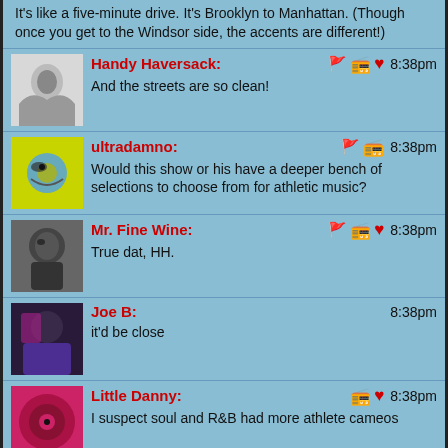It's like a five-minute drive. It's Brooklyn to Manhattan. (Though once you get to the Windsor side, the accents are different!)
Handy Haversack: And the streets are so clean! 8:38pm
ultradamno: Would this show or his have a deeper bench of selections to choose from for athletic music? 8:38pm
Mr. Fine Wine: True dat, HH. 8:38pm
Joe B: it'd be close 8:38pm
Little Danny: I suspect soul and R&B had more athlete cameos 8:38pm
Handy Haversack: Oof, there's Bernie Williams ... 8:39pm
Richard S: Singing Athletes sounds like a job for the World's Worst Records Show (on Sheena's 8:39pm